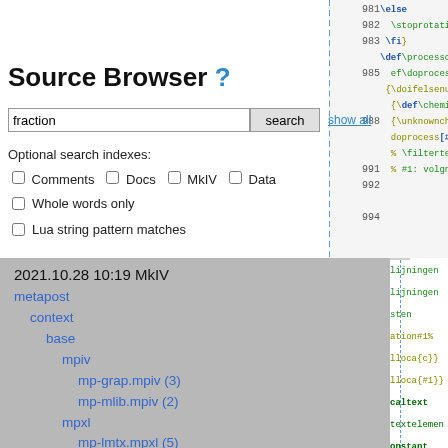Source Browser ?
fraction  [search]  show all
Optional search indexes:
Comments  Docs  MkIV  Data
Whole words only
Lua string pattern matches
[Figure (screenshot): Source code viewer showing ConTeXt TeX macro code with line numbers 981-994, featuring syntax highlighting in green, blue, red and olive colors]
[Figure (screenshot): File tree panel dated 2021.10.28 10:19 MkIV showing metapost > context > base > mpiv (mp-grap.mpiv (3), mp-mlib.mpiv (2)), mpxl (mp-lmtx.mpxl (5), mp-mlib.mpxl (12)); tex > context]